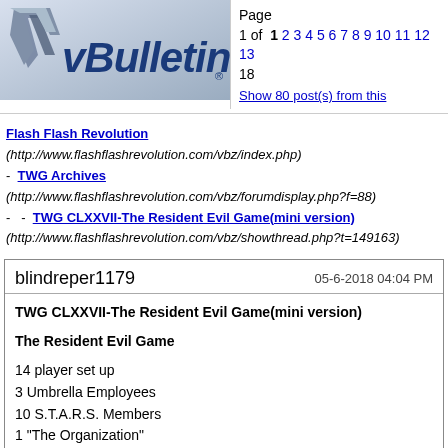[Figure (logo): vBulletin logo with stylized V icon and blue italic text]
Page 1 of 18  1 2 3 4 5 6 7 8 9 10 11 12 13  Show 80 post(s) from this
Flash Flash Revolution (http://www.flashflashrevolution.com/vbz/index.php)
- TWG Archives (http://www.flashflashrevolution.com/vbz/forumdisplay.php?f=88)
- - TWG CLXXVII-The Resident Evil Game(mini version)
(http://www.flashflashrevolution.com/vbz/showthread.php?t=149163)
blindreper1179
05-6-2018 04:04 PM
TWG CLXXVII-The Resident Evil Game(mini version)
The Resident Evil Game
14 player set up
3 Umbrella Employees
10 S.T.A.R.S. Members
1 "The Organization"
Day start
OOTC off except for wolfs NIGHT chat
48 hour Day phases
24 hour night phases
Phantoms off